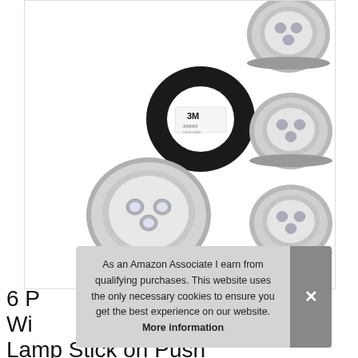[Figure (photo): Product photo showing six silver LED push lights (tap lights) with 3M adhesive backing. One large silver light is shown on the left, one black disc (back of light showing 3M adhesive) is shown in the center-top, and four smaller silver LED lights are stacked on the right side.]
As an Amazon Associate I earn from qualifying purchases. This website uses the only necessary cookies to ensure you get the best experience on our website. More information
6 P... Wi... Lamp Stick on Push Light for Closet...